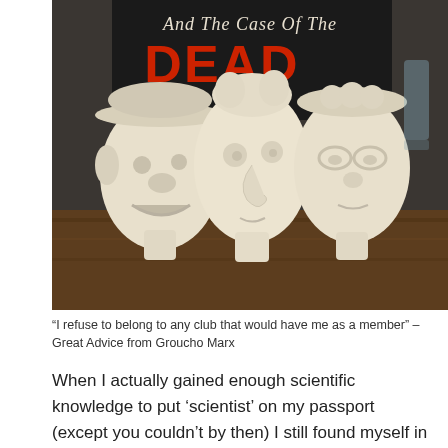[Figure (photo): Three ceramic/plaster busts of caricature faces (resembling the Marx Brothers) displayed on a wooden surface, with a book cover visible in the background showing 'And The Case Of The DEAD' in red and white text.]
“I refuse to belong to any club that would have me as a member” – Great Advice from Groucho Marx
When I actually gained enough scientific knowledge to put ‘scientist’ on my passport (except you couldn’t by then) I still found myself in a position where advice had to taken. From people with more experience, it made sense to listen, but it was harder